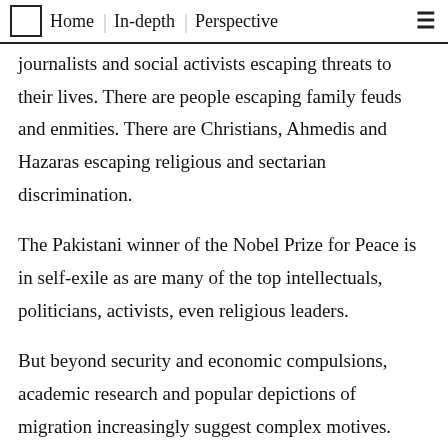Home  In-depth  Perspective
journalists and social activists escaping threats to their lives. There are people escaping family feuds and enmities. There are Christians, Ahmedis and Hazaras escaping religious and sectarian discrimination.
The Pakistani winner of the Nobel Prize for Peace is in self-exile as are many of the top intellectuals, politicians, activists, even religious leaders.
But beyond security and economic compulsions, academic research and popular depictions of migration increasingly suggest complex motives.
Ali Nobil Ahmad is a professor at the Lahore University